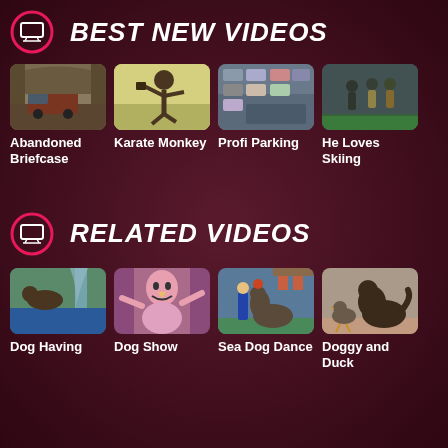BEST NEW VIDEOS
[Figure (screenshot): Abandoned Briefcase video thumbnail - van on road]
Abandoned Briefcase
[Figure (screenshot): Karate Monkey video thumbnail - monkey doing karate]
Karate Monkey
[Figure (screenshot): Profi Parking video thumbnail - parking lot with cars]
Profi Parking
[Figure (screenshot): He Loves Skiing video thumbnail - people standing]
He Loves Skiing
RELATED VIDEOS
[Figure (screenshot): Dog Having video thumbnail - dog near water/pool]
Dog Having
[Figure (screenshot): Dog Show video thumbnail - pink puppet/character]
Dog Show
[Figure (screenshot): Sea Dog Dance video thumbnail - sea lion with trainer]
Sea Dog Dance
[Figure (screenshot): Doggy and Duck video thumbnail - dog and duck]
Doggy and Duck